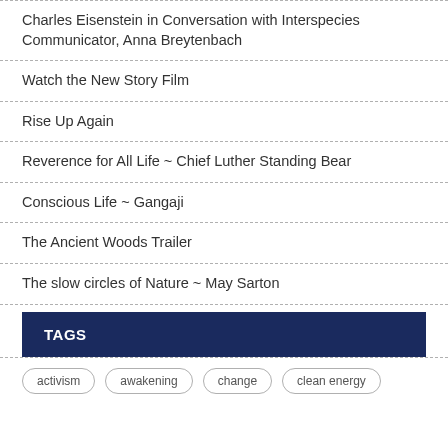Charles Eisenstein in Conversation with Interspecies Communicator, Anna Breytenbach
Watch the New Story Film
Rise Up Again
Reverence for All Life ~ Chief Luther Standing Bear
Conscious Life ~ Gangaji
The Ancient Woods Trailer
The slow circles of Nature ~ May Sarton
TAGS
activism
awakening
change
clean energy